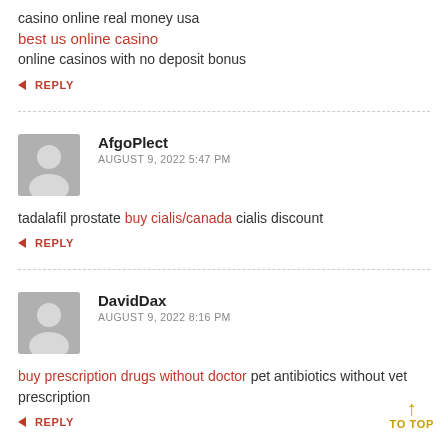casino online real money usa
best us online casino
online casinos with no deposit bonus
↩ REPLY
AfgoPlect
AUGUST 9, 2022 5:47 PM
tadalafil prostate buy cialis/canada cialis discount
↩ REPLY
DavidDax
AUGUST 9, 2022 8:16 PM
buy prescription drugs without doctor pet antibiotics without vet prescription
↩ REPLY
↑ TO TOP